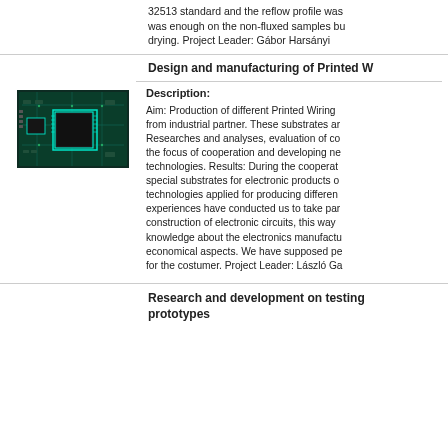32513 standard and the reflow profile was… was enough on the non-fluxed samples bu… drying. Project Leader: Gábor Harsányi
Design and manufacturing of Printed W…
[Figure (photo): Photo of a printed circuit board (PCB) with green substrate showing integrated circuits and electronic components.]
Description: Aim: Production of different Printed Wiring … from industrial partner. These substrates a… Researches and analyses, evaluation of co… the focus of cooperation and developing ne… technologies. Results: During the cooperat… special substrates for electronic products o… technologies applied for producing differen… experiences have conducted us to take par… construction of electronic circuits, this way … knowledge about the electronics manufactu… economical aspects. We have supposed pe… for the costumer. Project Leader: László Ga…
Research and development on testing… prototypes